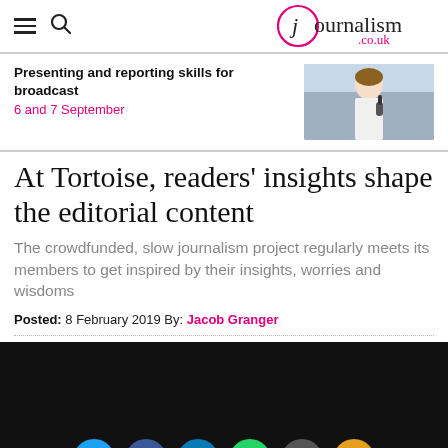journalism.co.uk
Presenting and reporting skills for broadcast
6 and 7 September
[Figure (photo): Woman reporter holding a microphone outdoors with cars in background]
At Tortoise, readers' insights shape the editorial content
The crowdfunded, slow journalism project regularly meets its members to get inspired by their insights, worries and wisdoms
Posted: 8 February 2019 By: Jacob Granger
[Figure (screenshot): Video player area (black background) with social sharing icons: Twitter, Facebook, LinkedIn, WhatsApp, Email, RSS]